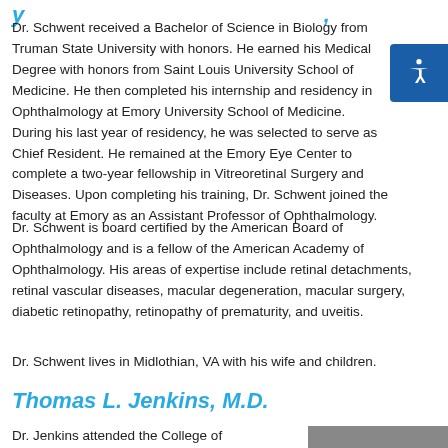y ...
Dr. Schwent received a Bachelor of Science in Biology from Truman State University with honors. He earned his Medical Degree with honors from Saint Louis University School of Medicine. He then completed his internship and residency in Ophthalmology at Emory University School of Medicine. During his last year of residency, he was selected to serve as Chief Resident. He remained at the Emory Eye Center to complete a two-year fellowship in Vitreoretinal Surgery and Diseases. Upon completing his training, Dr. Schwent joined the faculty at Emory as an Assistant Professor of Ophthalmology.
Dr. Schwent is board certified by the American Board of Ophthalmology and is a fellow of the American Academy of Ophthalmology. His areas of expertise include retinal detachments, retinal vascular diseases, macular degeneration, macular surgery, diabetic retinopathy, retinopathy of prematurity, and uveitis.
Dr. Schwent lives in Midlothian, VA with his wife and children.
Thomas L. Jenkins, M.D.
Dr. Jenkins attended the College of...